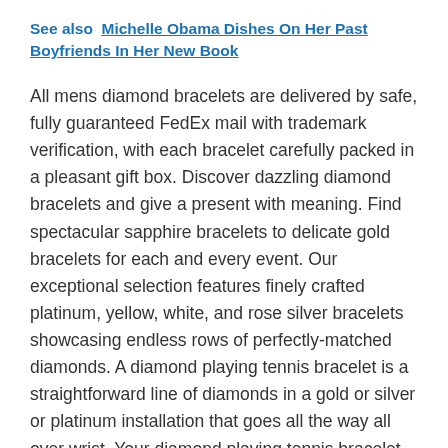See also  Michelle Obama Dishes On Her Past Boyfriends In Her New Book
All mens diamond bracelets are delivered by safe, fully guaranteed FedEx mail with trademark verification, with each bracelet carefully packed in a pleasant gift box. Discover dazzling diamond bracelets and give a present with meaning. Find spectacular sapphire bracelets to delicate gold bracelets for each and every event. Our exceptional selection features finely crafted platinum, yellow, white, and rose silver bracelets showcasing endless rows of perfectly-matched diamonds. A diamond playing tennis bracelet is a straightforward line of diamonds in a gold or silver or platinum installation that goes all the way all over wrist. Your diamond playing tennis bracelet should look just like new. But, the Cartier may be much more